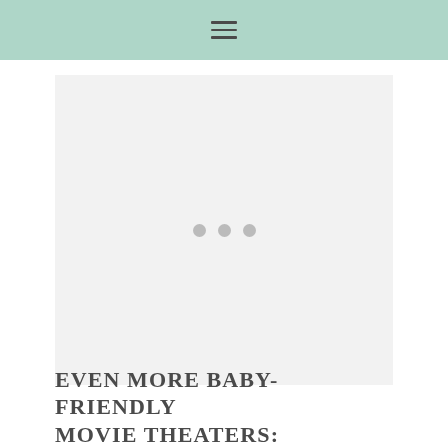[Figure (photo): Loading placeholder image with three gray dots in the center on a light gray background]
EVEN MORE BABY-FRIENDLY MOVIE THEATERS: